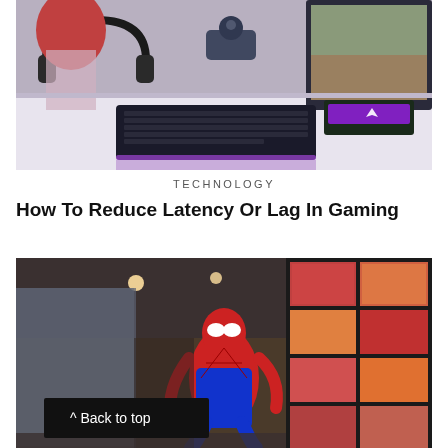[Figure (photo): Gaming desk setup with a mechanical keyboard with purple RGB lighting, headphones, joystick, large monitor, and a person with red hair sitting at the desk.]
TECHNOLOGY
How To Reduce Latency Or Lag In Gaming
[Figure (photo): Spider-Man character (from Marvel's Spider-Man video game) posed in front of a large video wall display in a shopping mall or indoor arena, with colorful screens showing food images.]
Back to top